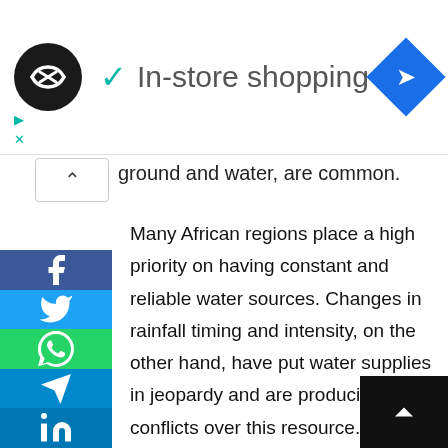[Figure (screenshot): In-store shopping ad bar with logo, checkmark, label text, and navigation diamond icon]
ground and water, are common.
Many African regions place a high priority on having constant and reliable water sources. Changes in rainfall timing and intensity, on the other hand, have put water supplies in jeopardy and are producing conflicts over this resource.
crop yields in Sub-Saharan Africa are already being impacted by variations in precipitation and temperature. Food shortages have resulted, triggering cross-border migration and intraregional conflicts, sparking political instability in Nigeria, for example